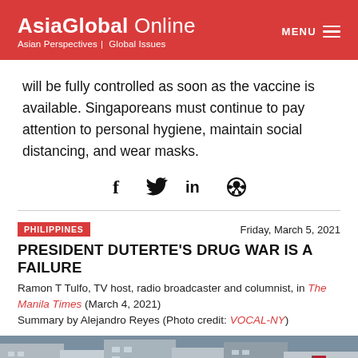AsiaGlobal Online | Asian Perspectives | Global Issues
will be fully controlled as soon as the vaccine is available. Singaporeans must continue to pay attention to personal hygiene, maintain social distancing, and wear masks.
[Figure (infographic): Social media sharing icons: Facebook (f), Twitter (bird), LinkedIn (in), Reddit (alien)]
PHILIPPINES — Friday, March 5, 2021
PRESIDENT DUTERTE'S DRUG WAR IS A FAILURE
Ramon T Tulfo, TV host, radio broadcaster and columnist, in The Manila Times (March 4, 2021)
Summary by Alejandro Reyes (Photo credit: VOCAL-NY)
[Figure (photo): Street protest scene with crowd of people, American flags visible, urban street setting]